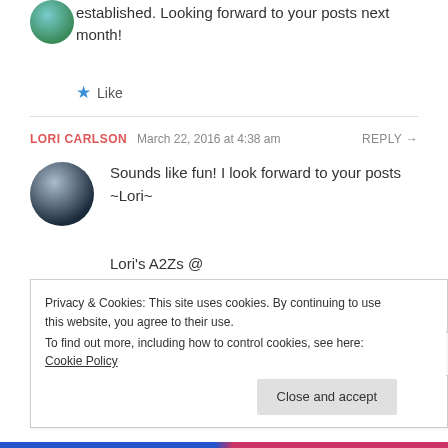established. Looking forward to your posts next month!
★ Like
LORI CARLSON   March 22, 2016 at 4:38 am   REPLY →
Sounds like fun! I look forward to your posts ~Lori~
Lori's A2Zs @ https://asthefateswouldhaveit.wordpress.com/ & https://promptlywritten.wordpress.com/
Privacy & Cookies: This site uses cookies. By continuing to use this website, you agree to their use. To find out more, including how to control cookies, see here: Cookie Policy
Close and accept